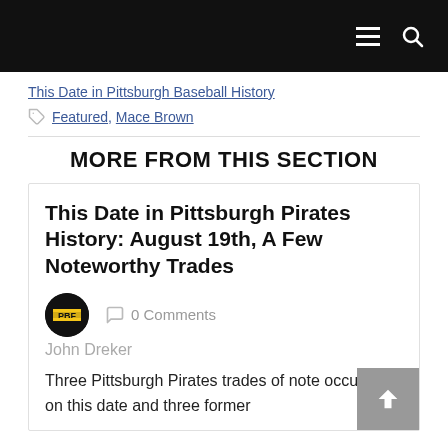This Date in Pittsburgh Baseball History
Featured, Mace Brown
MORE FROM THIS SECTION
This Date in Pittsburgh Pirates History: August 19th, A Few Noteworthy Trades
0 Comments
John Dreker
Three Pittsburgh Pirates trades of note occurred on this date and three former